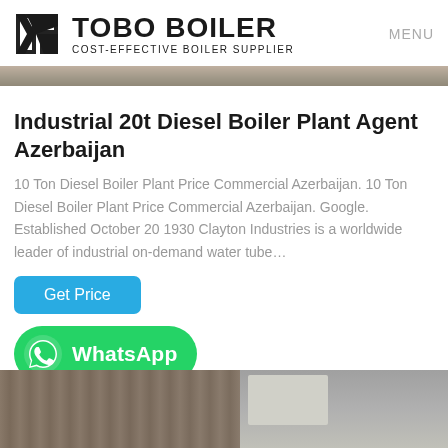TOBO BOILER — COST-EFFECTIVE BOILER SUPPLIER — MENU
[Figure (photo): Partial view of industrial boiler equipment, brown/tan tones, cropped strip at top]
Industrial 20t Diesel Boiler Plant Agent Azerbaijan
10 Ton Diesel Boiler Plant Price Commercial Azerbaijan. 10 Ton Diesel Boiler Plant Price Commercial Azerbaijan. Google. Established October 20 1930 Clayton Industries is a worldwide leader of industrial on-demand water tube…
[Figure (other): Blue 'Get Price' button]
[Figure (logo): WhatsApp green banner with WhatsApp icon and text]
[Figure (photo): Industrial boiler plant machinery, bottom of page strip]